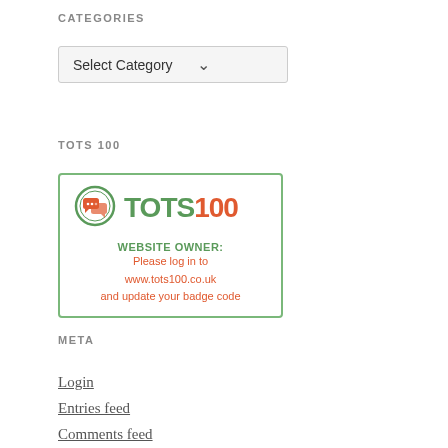CATEGORIES
[Figure (screenshot): A dropdown select box labeled 'Select Category' with a downward arrow]
TOTS 100
[Figure (logo): TOTS100 badge with green circle logo, 'TOTS' in green, '100' in orange, text: WEBSITE OWNER: Please log in to www.tots100.co.uk and update your badge code]
META
Login
Entries feed
Comments feed